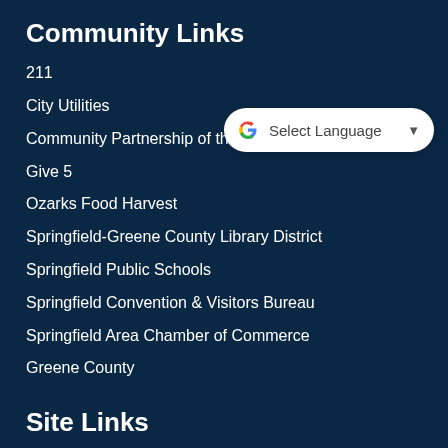Community Links
211
City Utilities
Community Partnership of the Ozarks
Give 5
Ozarks Food Harvest
Springfield-Greene County Library District
Springfield Public Schools
Springfield Convention & Visitors Bureau
Springfield Area Chamber of Commerce
Greene County
[Figure (screenshot): Google Translate widget showing 'Select Language' dropdown button with Google G logo]
Site Links
Home